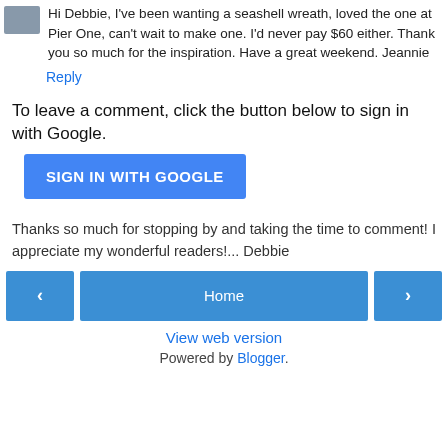Hi Debbie, I've been wanting a seashell wreath, loved the one at Pier One, can't wait to make one. I'd never pay $60 either. Thank you so much for the inspiration. Have a great weekend. Jeannie
Reply
To leave a comment, click the button below to sign in with Google.
SIGN IN WITH GOOGLE
Thanks so much for stopping by and taking the time to comment! I appreciate my wonderful readers!... Debbie
‹
Home
›
View web version
Powered by Blogger.